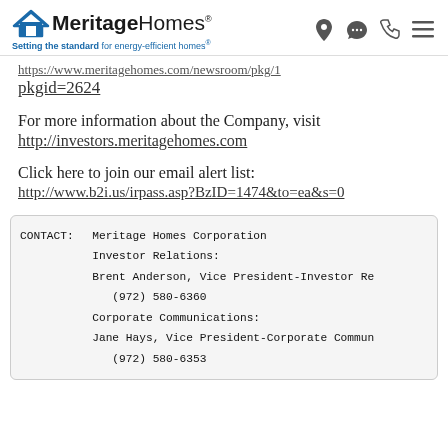Meritage Homes | Setting the standard for energy-efficient homes®
https://www.meritagehomes.com/newsroom/pkg/1pkgid=2624
For more information about the Company, visit http://investors.meritagehomes.com
Click here to join our email alert list: http://www.b2i.us/irpass.asp?BzID=1474&to=ea&s=0
| CONTACT: | Meritage Homes Corporation |
|  | Investor Relations: |
|  | Brent Anderson, Vice President-Investor Re |
|  | (972) 580-6360 |
|  | Corporate Communications: |
|  | Jane Hays, Vice President-Corporate Commun |
|  | (972) 580-6353 |